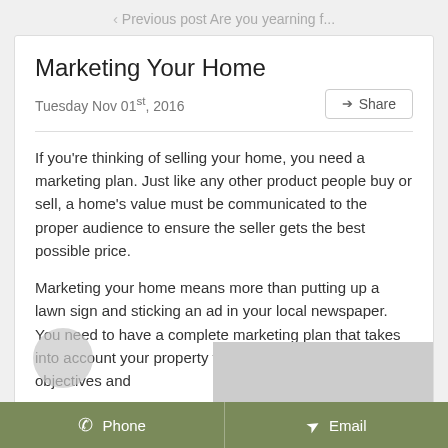< Previous post Are you yearning f...
Marketing Your Home
Tuesday Nov 01st, 2016
Share
If you're thinking of selling your home, you need a marketing plan. Just like any other product people buy or sell, a home's value must be communicated to the proper audience to ensure the seller gets the best possible price.
Marketing your home means more than putting up a lawn sign and sticking an ad in your local newspaper. You need to have a complete marketing plan that takes into account your property features and benefits, your objectives and
Phone   Email